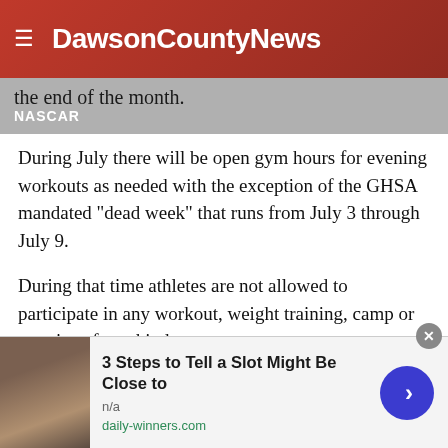DawsonCountyNews
the end of the month.
During July there will be open gym hours for evening workouts as needed with the exception of the GHSA mandated "dead week" that runs from July 3 through July 9.
During that time athletes are not allowed to participate in any workout, weight training, camp or practice of any kind.
"By that point the sparkle will be worn off the new car," he said.
There are practices at 6 p.m. today and Thursday.
[Figure (other): Advertisement banner: 3 Steps to Tell a Slot Might Be Close to - n/a - daily-winners.com, with thumbnail image and arrow button]